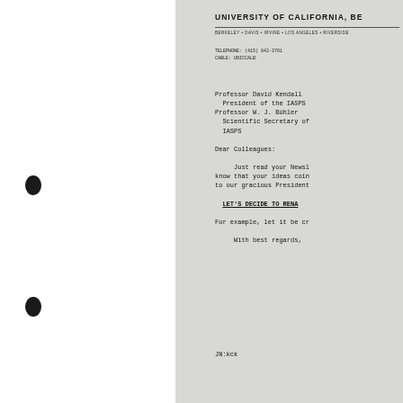UNIVERSITY OF CALIFORNIA, BE
BERKELEY • DAVIS • IRVINE • LOS ANGELES • RIVERSIDE
TELEPHONE: (415) 642-3701
CABLE: UNICCALB
Professor David Kendall
  President of the IASPS
Professor W. J. Bühler
  Scientific Secretary of
  IASPS
Dear Colleagues:
Just read your Newsl know that your ideas coin to our gracious President
LET'S DECIDE TO RENA
For example, let it be cr
With best regards,
JN:kck